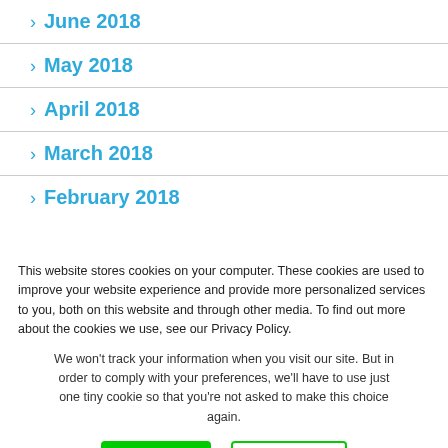June 2018
May 2018
April 2018
March 2018
February 2018
This website stores cookies on your computer. These cookies are used to improve your website experience and provide more personalized services to you, both on this website and through other media. To find out more about the cookies we use, see our Privacy Policy.
We won't track your information when you visit our site. But in order to comply with your preferences, we'll have to use just one tiny cookie so that you're not asked to make this choice again.